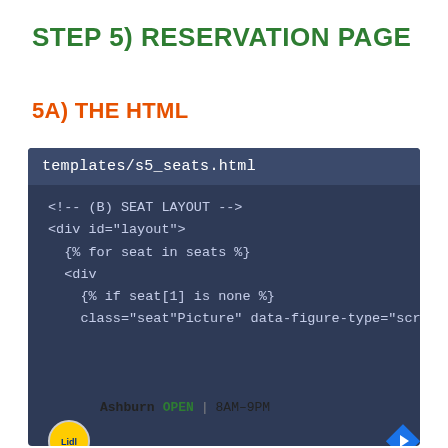STEP 5) RESERVATION PAGE
5A) THE HTML
[Figure (screenshot): Code editor screenshot showing file 'templates/s5_seats.html' with HTML template code including a seat layout section with Jinja2 template tags: <!-- (B) SEAT LAYOUT -->, <div id="layout">, {% for seat in seats %}, <div, {% if seat[1] is none %}, class="seat" onclick="reserve t]
[Figure (screenshot): Advertisement banner for Lidl store in Ashburn showing OPEN 8AM-9PM, address 44175 Ashbrook Marketplace Pla..., with Lidl logo and navigation arrow icon]